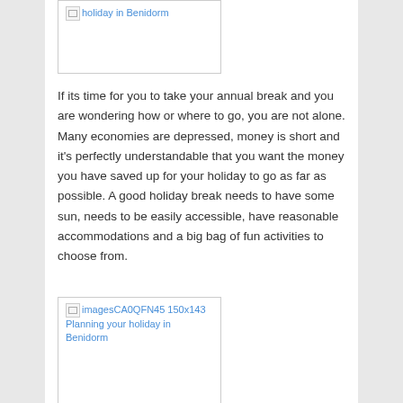[Figure (other): Broken image placeholder with link text 'imagesCA0QFN45 150x143 Planning your holiday in Benidorm' (partially visible at top of page)]
If its time for you to take your annual break and you are wondering how or where to go, you are not alone. Many economies are depressed, money is short and it's perfectly understandable that you want the money you have saved up for your holiday to go as far as possible. A good holiday break needs to have some sun, needs to be easily accessible, have reasonable accommodations and a big bag of fun activities to choose from.
[Figure (other): Broken image placeholder with link text 'imagesCA0QFN45 150x143 Planning your holiday in Benidorm']